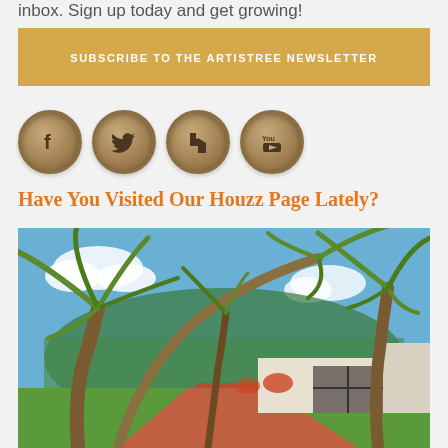inbox. Sign up today and get growing!
SUBSCRIBE TO THE ARTISTREE NEWSLETTER
[Figure (illustration): Four circular social media icon buttons with a wood/burlap texture: Facebook (f), Twitter (bird), Houzz (H), YouTube (You Tube)]
Have You Visited Our Houzz Page Lately?
[Figure (photo): Outdoor landscaping photo showing a tropical driveway entrance with tall palm trees, green lawn, red brick pavers, white wall gate, and blue sky with clouds]